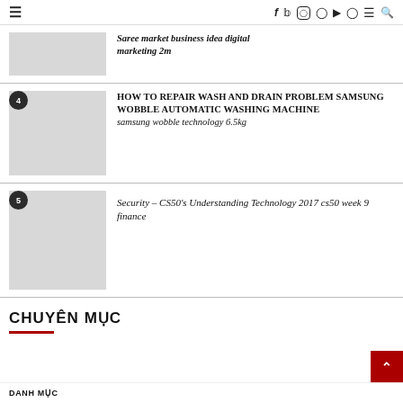≡  f  𝕏  ◯  𝗣  ▶  👻  ≡  🔍
Saree market business idea digital marketing 2m
4 HOW TO REPAIR WASH AND DRAIN PROBLEM SAMSUNG WOBBLE AUTOMATIC WASHING MACHINE samsung wobble technology 6.5kg
5 Security – CS50's Understanding Technology 2017 cs50 week 9 finance
CHUYÊN MỤC